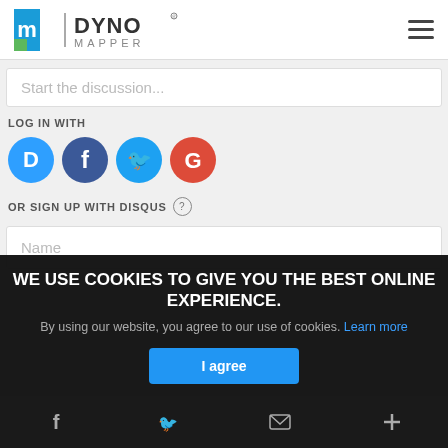Dyno Mapper
Start the discussion...
LOG IN WITH
[Figure (screenshot): Social login icons: Disqus (blue D), Facebook (dark blue f), Twitter (light blue bird), Google (red G)]
OR SIGN UP WITH DISQUS ?
Name
WE USE COOKIES TO GIVE YOU THE BEST ONLINE EXPERIENCE.
By using our website, you agree to our use of cookies. Learn more
I agree